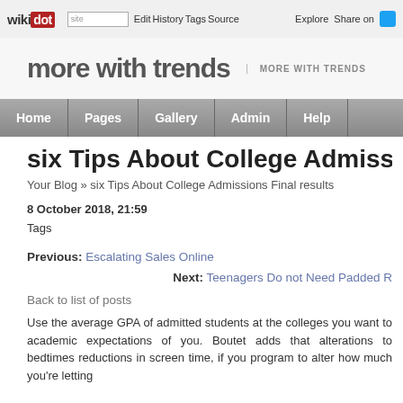wiki dot | site | Edit | History | Tags | Source | Explore | Share on
more with trends | MORE WITH TRENDS
Home | Pages | Gallery | Admin | Help
six Tips About College Admissions Final r
Your Blog » six Tips About College Admissions Final results
8 October 2018, 21:59
Tags
Previous: Escalating Sales Online
Next: Teenagers Do not Need Padded R
Back to list of posts
Use the average GPA of admitted students at the colleges you want to academic expectations of you. Boutet adds that alterations to bedtimes reductions in screen time, if you program to alter how much you're letting